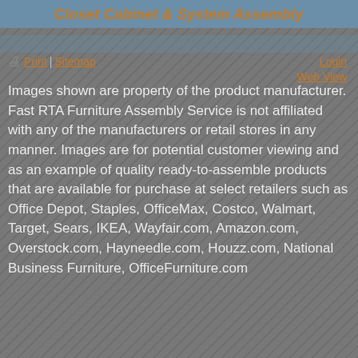Closet Cabinet & System Assembly
Print | Sitemap    Login Web View
Images shown are property of the product manufacturer. Fast RTA Furniture Assembly Service is not affiliated with any of the manufacturers or retail stores in any manner. Images are for potential customer viewing and as an example of quality ready-to-assemble products that are available for purchase at select retailers such as Office Depot, Staples, OfficeMax, Costco, Walmart, Target, Sears, IKEA, Wayfair.com, Amazon.com, Overstock.com, Hayneedle.com, Houzz.com, National Business Furniture, OfficeFurniture.com